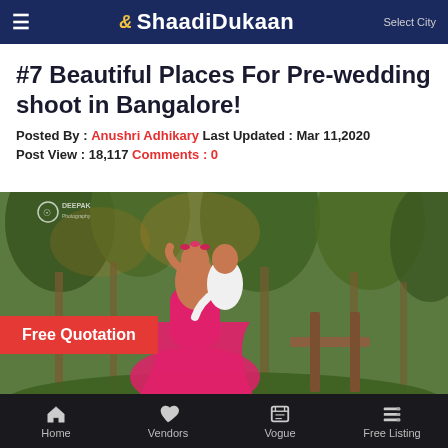☰ ShaadiDukaan  Select City
#7 Beautiful Places For Pre-wedding shoot in Bangalore!
Posted By : Anushri Adhikary Last Updated : Mar 11,2020
Post View : 18,117 Comments : 0
[Figure (photo): Pre-wedding photo shoot of a couple in a lush green outdoor setting. The woman is wearing a flowing pink/magenta dress and has flowers in her hair, the man is in a white shirt. A wooden fence is visible in the background. Watermark reads DEEPAK MIA Photography. A red banner at the bottom says Free Quotation.]
Home  Vendors  Vogue  Free Listing